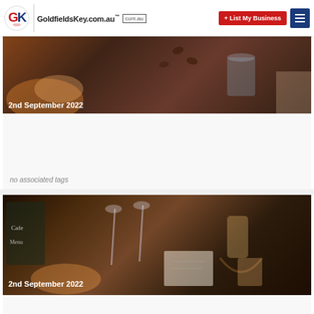GoldfieldsKey.com.au — List My Business
[Figure (photo): Coffee shop / cafe scene with food and dark background, date overlay '2nd September 2022']
no associated tags
[Figure (photo): Coffee shop scene with cafe signage, coffee brewing equipment, pastries, dark overlay, date '2nd September 2022']
no associated tags